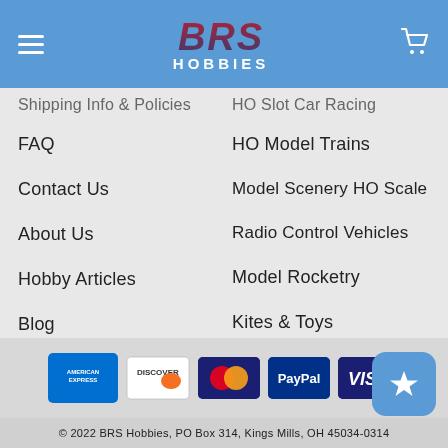[Figure (logo): BRS Hobbies logo with American flag colors on blue header bar with hamburger menu and cart icon]
Shipping Info & Policies
HO Slot Car Racing
FAQ
HO Model Trains
Contact Us
Model Scenery HO Scale
About Us
Radio Control Vehicles
Hobby Articles
Model Rocketry
Blog
Kites & Toys
Sitemap
General Hobby Supplies
Labor Day Sale
[Figure (other): Payment method icons: American Express, Discover, Mastercard, PayPal, Visa]
© 2022 BRS Hobbies, PO Box 314, Kings Mills, OH 45034-0314